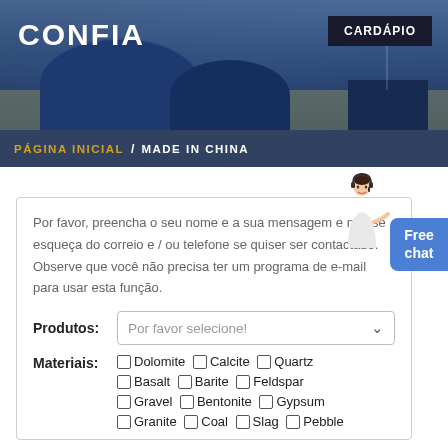[Figure (photo): Industrial facility header banner with CONFIA logo and CARDÁPIO menu button. Dark blue background with dome-shaped industrial structures.]
CONFIA
CARDÁPIO
PÁGINA INICIAL / MADE IN CHINA
Por favor, preencha o seu nome e a sua mensagem e não se esqueça do correio e / ou telefone se quiser ser contactado. Observe que você não precisa ter um programa de e-mail para usar esta função.
Produtos: Por favor selecione!
Materiais: □ Dolomite □ Calcite □ Quartz □ Basalt □ Barite □ Feldspar □ Gravel □ Bentonite □ Gypsum □ Granite □ Coal □ Slag □ Pebble